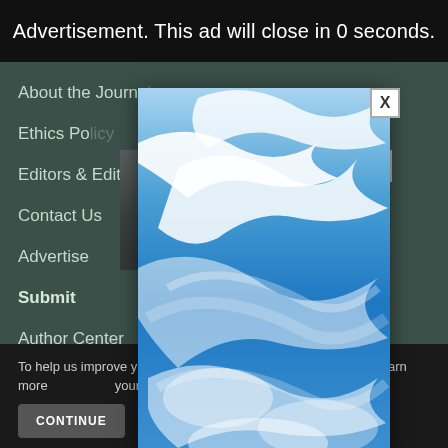Advertisement. This ad will close in 0 seconds.
About the Journal
Ethics Policy
Editors & Editorial Board
Contact Us
Advertise
Submit
Author Center
Submit a Manuscript
[Figure (photo): Sky advertisement modal popup showing blue sky with white clouds]
To help us improve your experience, this website uses cookies. Learn more and adjust your settings in our Cookie Policy. You can...
CONTINUE   FIND...